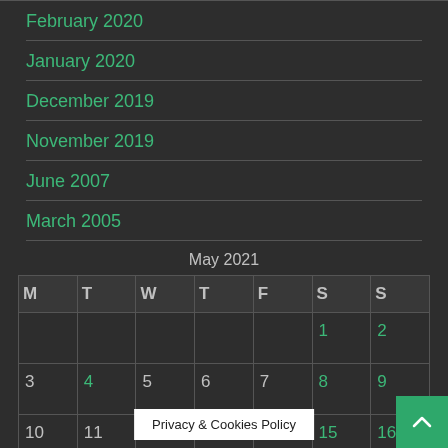February 2020
January 2020
December 2019
November 2019
June 2007
March 2005
| M | T | W | T | F | S | S |
| --- | --- | --- | --- | --- | --- | --- |
|  |  |  |  |  | 1 | 2 |
| 3 | 4 | 5 | 6 | 7 | 8 | 9 |
| 10 | 11 | 12 | 13 | 14 | 15 | 16 |
| 17 | 18 | 19 |  |  |  | 23 |
Privacy & Cookies Policy